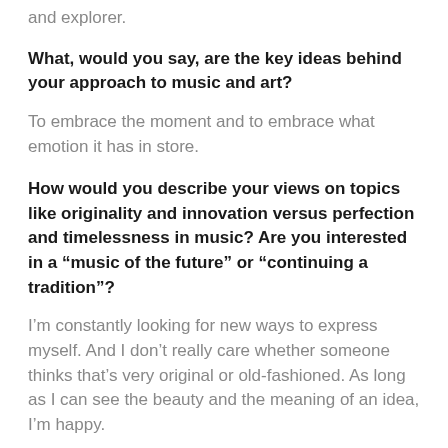and explorer.
What, would you say, are the key ideas behind your approach to music and art?
To embrace the moment and to embrace what emotion it has in store.
How would you describe your views on topics like originality and innovation versus perfection and timelessness in music? Are you interested in a “music of the future” or “continuing a tradition”?
I’m constantly looking for new ways to express myself. And I don’t really care whether someone thinks that’s very original or old-fashioned. As long as I can see the beauty and the meaning of an idea, I’m happy.
Nevertheless, I think it’s always enriching to know a lot of stuff. Most of the time, there is a reason why an artist is considered a “classic” or “the next big thing”. And it’s worth to find